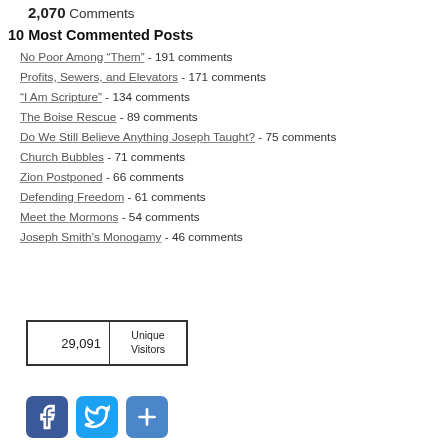2,070 Comments
10 Most Commented Posts
No Poor Among “Them” - 191 comments
Profits, Sewers, and Elevators - 171 comments
“I Am Scripture” - 134 comments
The Boise Rescue - 89 comments
Do We Still Believe Anything Joseph Taught? - 75 comments
Church Bubbles - 71 comments
Zion Postponed - 66 comments
Defending Freedom - 61 comments
Meet the Mormons - 54 comments
Joseph Smith’s Monogamy - 46 comments
| Count | Label |
| --- | --- |
| 29,091 | Unique Visitors |
[Figure (infographic): Social media share buttons: Facebook (blue), Twitter (light blue), and a blue plus/share button]